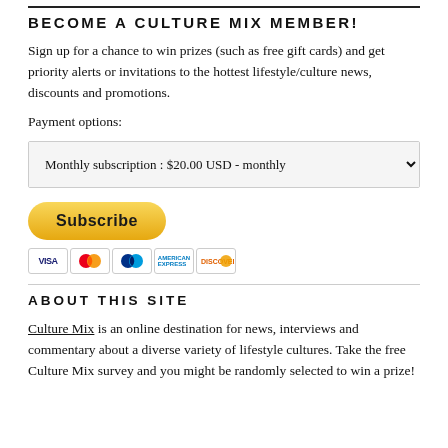BECOME A CULTURE MIX MEMBER!
Sign up for a chance to win prizes (such as free gift cards) and get priority alerts or invitations to the hottest lifestyle/culture news, discounts and promotions.
Payment options:
Monthly subscription : $20.00 USD - monthly
[Figure (other): PayPal Subscribe button with payment card icons (Visa, Mastercard, PayPal, American Express, Discover)]
ABOUT THIS SITE
Culture Mix is an online destination for news, interviews and commentary about a diverse variety of lifestyle cultures. Take the free Culture Mix survey and you might be randomly selected to win a prize!